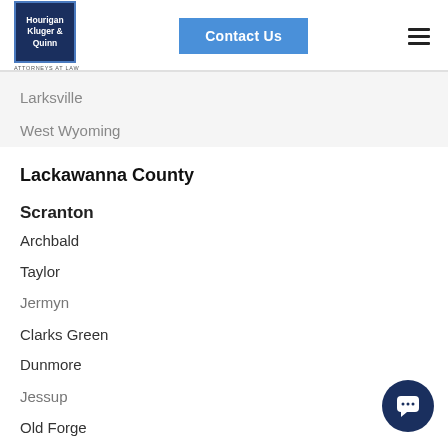Hourigan Kluger & Quinn ATTORNEYS AT LAW | Contact Us
Larksville
West Wyoming
Lackawanna County
Scranton
Archbald
Taylor
Jermyn
Clarks Green
Dunmore
Jessup
Old Forge
Moscow
Mayfield
Mount Cobb
Dickson City
Moosic